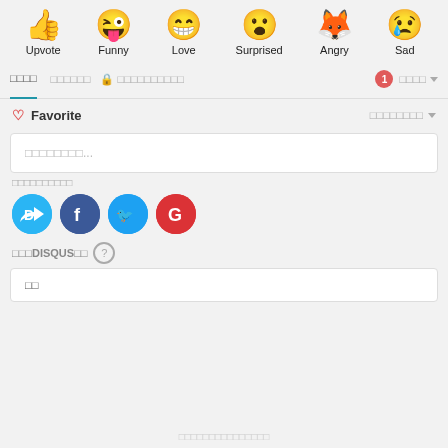[Figure (illustration): Row of emoji reaction icons: thumbs up (Upvote), laughing face with tongue (Funny), grinning face (Love), surprised face (Surprised), angry/foxy face (Angry), crying face (Sad)]
Upvote  Funny  Love  Surprised  Angry  Sad
□□□□  □□□□□□  🔒 □□□□□□□□□□  [1]  □□□□ ▾
♡ Favorite  □□□□□□□□ ▾
□□□□□□□□...
□□□□□□□□□□
[Figure (logo): Social login icons: Disqus (blue speech bubble with D), Facebook (dark blue circle with f), Twitter (light blue circle with bird), Google (red circle with G)]
□□□DISQUS□□ ?
□□
□□□□□□□□□□□□□□□